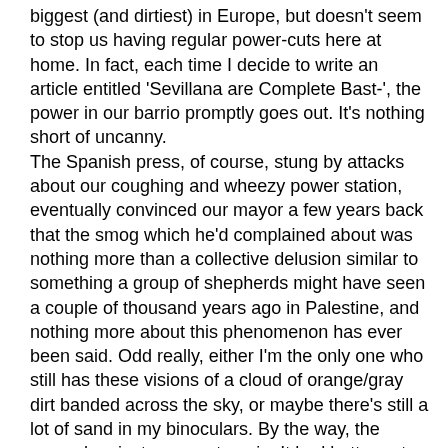biggest (and dirtiest) in Europe, but doesn't seem to stop us having regular power-cuts here at home. In fact, each time I decide to write an article entitled 'Sevillana are Complete Bast-', the power in our barrio promptly goes out. It's nothing short of uncanny.
The Spanish press, of course, stung by attacks about our coughing and wheezy power station, eventually convinced our mayor a few years back that the smog which he'd complained about was nothing more than a collective delusion similar to something a group of shepherds might have seen a couple of thousand years ago in Palestine, and nothing more about this phenomenon has ever been said. Odd really, either I'm the only one who still has these visions of a cloud of orange/gray dirt banded across the sky, or maybe there's still a lot of sand in my binoculars. By the way, the power has just gone out again. It had better not do so during tonight's Real Madrid/Barça game or there will be hell to pay.
We might never know who won.
Whoever did, from the roof that evening, meteorites or indeed footballs kicked by Messi were not in evidence.
It rained the following night, but there I was, back on top with